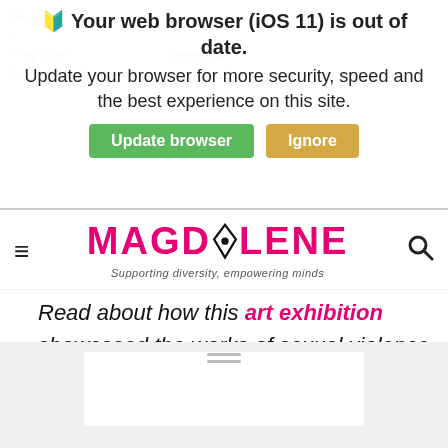[Figure (screenshot): Browser update notification overlay saying 'Your web browser (iOS 11) is out of date. Update your browser for more security, speed and the best experience on this site.' with green 'Update browser' and tan 'Ignore' buttons.]
MAGDALENE — Supporting diversity, empowering minds
Read about how this art exhibition showcased the works of sexual violence survivors and follow @bunnnicula on Twitter.
Tags: